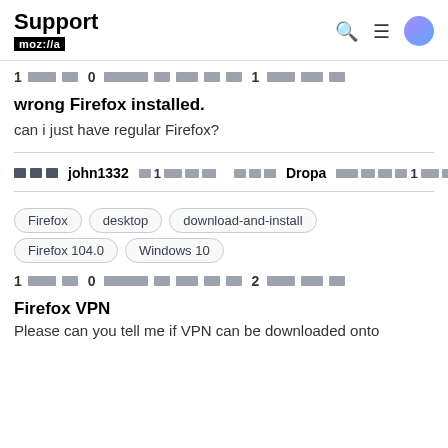Support mozilla
1 [redacted] 0 [redacted] 1 [redacted]
wrong Firefox installed.
can i just have regular Firefox?
john1332 [redacted] 1 [redacted]    Dropa [redacted] 1 [redacted]
Firefox
desktop
download-and-install
Firefox 104.0
Windows 10
1 [redacted] 0 [redacted] 2 [redacted]
Firefox VPN
Please can you tell me if VPN can be downloaded onto